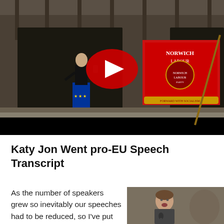[Figure (screenshot): YouTube video thumbnail showing a person standing on a ledge of a stone building wearing an EU flag skirt, holding a phone, with a Norwich Labour Party banner in the background. A large red YouTube play button is overlaid in the center.]
Katy Jon Went pro-EU Speech Transcript
As the number of speakers grew so inevitably our speeches had to be reduced, so I've put below my full-
[Figure (photo): Photo of a woman speaking into a microphone outdoors, with a stone building in the background.]